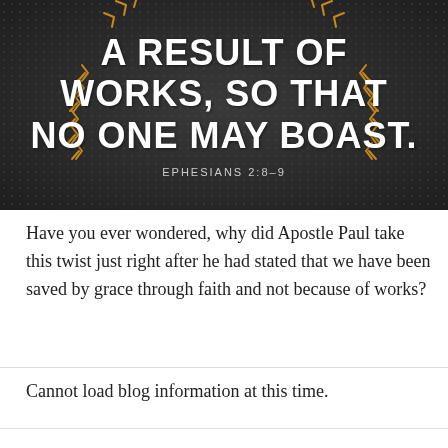[Figure (illustration): Dark background image with dotted texture and golden arrow/chevron wreath border. White bold uppercase text reads 'A RESULT OF WORKS, SO THAT NO ONE MAY BOAST.' with scripture reference 'EPHESIANS 2:8-9' below in smaller caps.]
Have you ever wondered, why did Apostle Paul take this twist just right after he had stated that we have been saved by grace through faith and not because of works?
Cannot load blog information at this time.